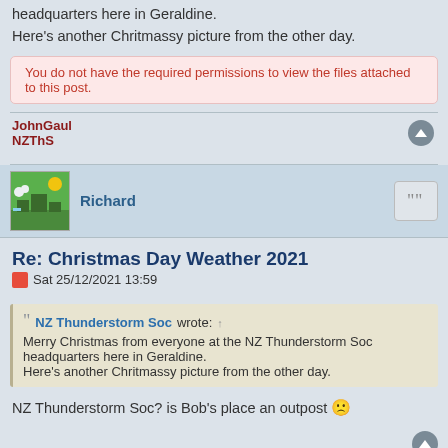headquarters here in Geraldine.
Here's another Chritmassy picture from the other day.
You do not have the required permissions to view the files attached to this post.
JohnGaul
NZThS
Richard
Re: Christmas Day Weather 2021
Sat 25/12/2021 13:59
NZ Thunderstorm Soc wrote: ↑
Merry Christmas from everyone at the NZ Thunderstorm Soc headquarters here in Geraldine.
Here's another Chritmassy picture from the other day.
NZ Thunderstorm Soc? is Bob's place an outpost 🙁
NZ Thunderstorm Soc